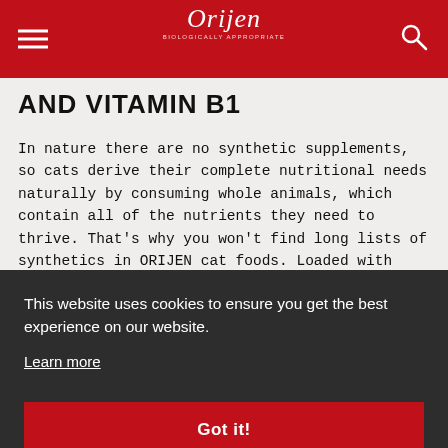Orijen
AND VITAMIN B1
In nature there are no synthetic supplements, so cats derive their complete nutritional needs naturally by consuming whole animals, which contain all of the nutrients they need to thrive. That's why you won't find long lists of synthetics in ORIJEN cat foods. Loaded with richly nourishing ratios of fresh meat, organs, and cartilage or bone, plus fresh, whole fish and cage-free eggs, ORIJEN...
This website uses cookies to ensure you get the best experience on our website.
Learn more
Got it!
[Figure (photo): Bottom strip showing two thumbnail images]